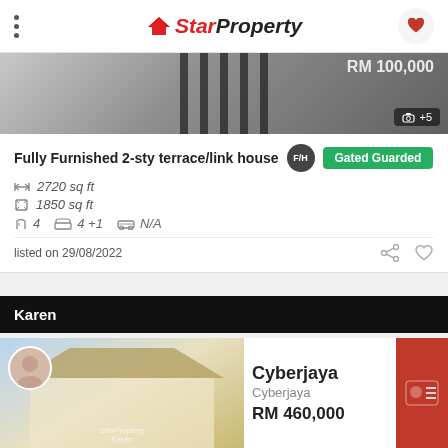StarProperty
[Figure (photo): Partial view of a terrace/link house exterior with gate, photo count badge +5]
Fully Furnished 2-sty terrace/link house F/H Gated Guarded
2720 sq ft
1850 sq ft
4   4+1   N/A
listed on 29/08/2022
Karen
[Figure (photo): Modern two-storey house exterior in Cyberjaya with agent profile photo overlay]
Cyberjaya
Cyberjaya
RM 460,000